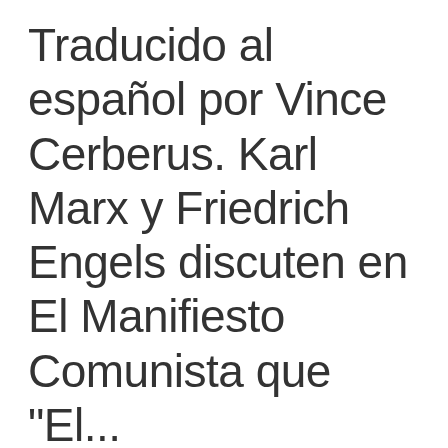Traducido al español por Vince Cerberus. Karl Marx y Friedrich Engels discuten en El Manifiesto Comunista que "El...